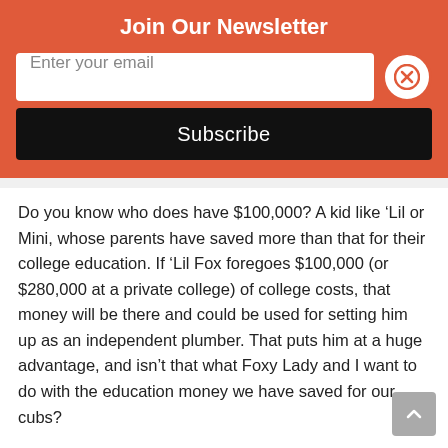Join Our Newsletter
Enter your email
Subscribe
Do you know who does have $100,000?  A kid like ‘Lil or Mini, whose parents have saved more than that for their college education.  If ‘Lil Fox foregoes $100,000 (or $280,000 at a private college) of college costs, that money will be there and could be used for setting him up as an independent plumber.  That puts him at a huge advantage, and isn’t that what Foxy Lady and I want to do with the education money we have saved for our cubs?
You could easily imagine our conversation with him: “We have saved $200,000 for your college, and we know you would be successful there if you wanted to be.  Instead, become a plumber.  In two years you’ll be licensed and three years after that you’ll be a master plumber.  When